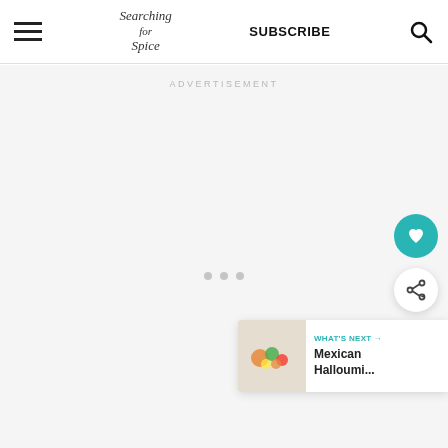Searching for Spice | SUBSCRIBE
ADVERTISEMENT
[Figure (other): Advertisement placeholder area with loading dots]
WHAT'S NEXT → Mexican Halloumi...